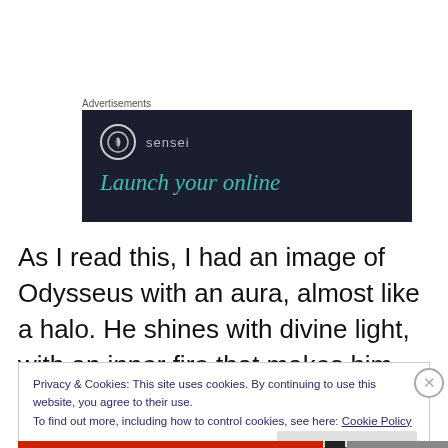Advertisements
[Figure (illustration): Sensei advertisement banner with dark navy background showing the Sensei logo (tree icon in a circle) with text 'sensei' and headline 'Launch your online' in teal italic serif font.]
As I read this, I had an image of Odysseus with an aura, almost like a halo. He shines with divine light, with an inner fire that makes him like a god.
Privacy & Cookies: This site uses cookies. By continuing to use this website, you agree to their use.
To find out more, including how to control cookies, see here: Cookie Policy